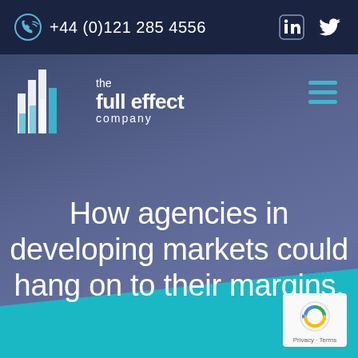+44 (0)121 285 4556
[Figure (logo): The Full Effect Company logo with bar chart icon and text]
How agencies in developing markets could hang on to their margins.
[Figure (other): reCAPTCHA badge with Privacy and Terms links]